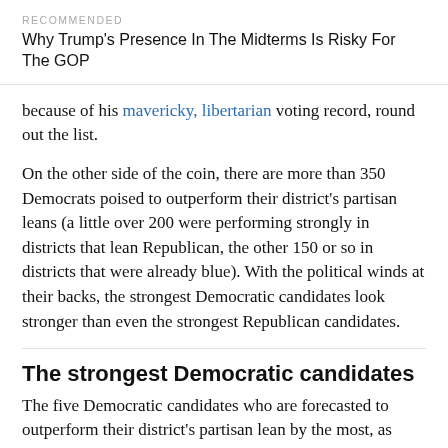RECOMMENDED
Why Trump's Presence In The Midterms Is Risky For The GOP
because of his mavericky, libertarian voting record, round out the list.
On the other side of the coin, there are more than 350 Democrats poised to outperform their district's partisan leans (a little over 200 were performing strongly in districts that lean Republican, the other 150 or so in districts that were already blue). With the political winds at their backs, the strongest Democratic candidates look stronger than even the strongest Republican candidates.
The strongest Democratic candidates
The five Democratic candidates who are forecasted to outperform their district's partisan lean by the most, as